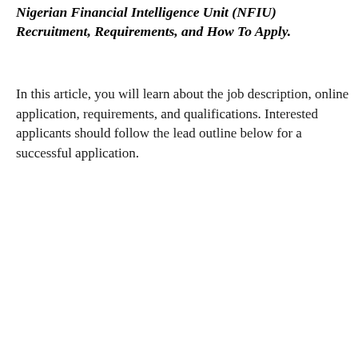Nigerian Financial Intelligence Unit (NFIU) Recruitment, Requirements, and How To Apply.
In this article, you will learn about the job description, online application, requirements, and qualifications. Interested applicants should follow the lead outline below for a successful application.